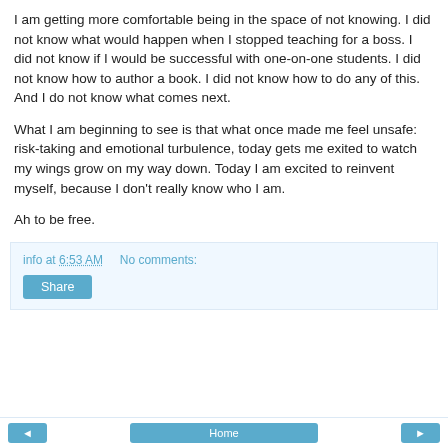I am getting more comfortable being in the space of not knowing. I did not know what would happen when I stopped teaching for a boss. I did not know if I would be successful with one-on-one students. I did not know how to author a book. I did not know how to do any of this. And I do not know what comes next.
What I am beginning to see is that what once made me feel unsafe: risk-taking and emotional turbulence, today gets me exited to watch my wings grow on my way down. Today I am excited to reinvent myself, because I don't really know who I am.
Ah to be free.
info at 6:53 AM   No comments:   Share